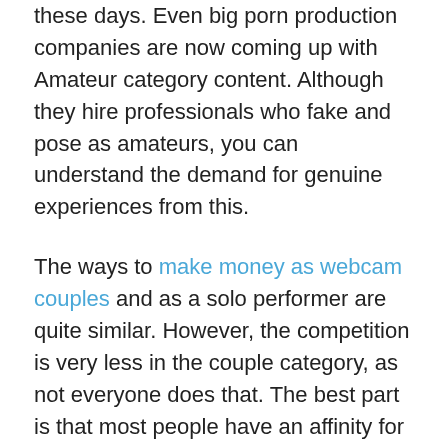these days. Even big porn production companies are now coming up with Amateur category content. Although they hire professionals who fake and pose as amateurs, you can understand the demand for genuine experiences from this.
The ways to make money as webcam couples and as a solo performer are quite similar. However, the competition is very less in the couple category, as not everyone does that. The best part is that most people have an affinity for both solo and couple category. Hence, you won't diminish your audience size by choosing the couple as your niche. In fact, most of the webcam sites have dedicated tabs for couple segment, which users can easily see.
Therefore, when you are featuring as live sex cam couple, you are automatically beating thousands of solo performers in the race.